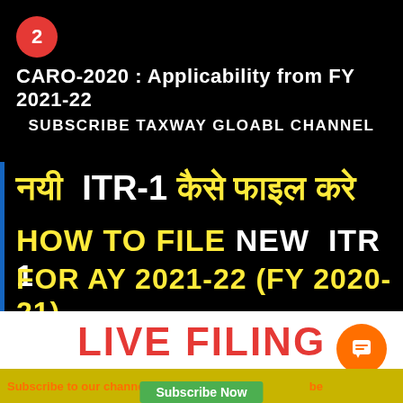[Figure (screenshot): YouTube thumbnail screenshot showing CARO-2020 and ITR filing tutorial content with badge number 2]
CARO-2020 : Applicability from FY 2021-22
SUBSCRIBE TAXWAY GLOABL CHANNEL
नयी  ITR-1 कैसे फाइल करे
HOW TO FILE NEW  ITR 1
FOR AY 2021-22 (FY 2020-21)
LIVE FILING
Subscribe to our channel "Taxway Global" on YouTube
Subscribe Now